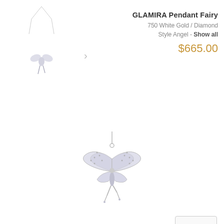[Figure (photo): Small thumbnail of GLAMIRA Pendant Fairy necklace on chain]
GLAMIRA Pendant Fairy
750 White Gold / Diamond
Style Angel - Show all
$665.00
[Figure (photo): Main product image: GLAMIRA Pendant Fairy – fairy figure pendant with diamond-encrusted butterfly wings in white gold, shown enlarged]
[Figure (other): 360 degree view button icon]
DESIGN YOUR
GLAMIRA PENDANT FAIRY
[Figure (other): Downward pointing chevron/arrow divider]
STONE
Diamond
[Figure (photo): Diamond gemstone thumbnail icon]